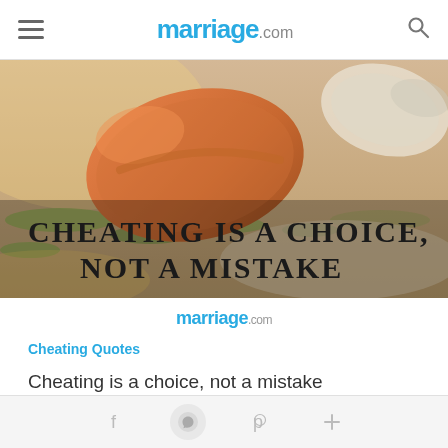marriage.com
[Figure (photo): Photo of a shoe on sandy ground with grass, overlaid with bold text reading 'CHEATING IS A CHOICE, NOT A MISTAKE']
marriage.com
Cheating Quotes
Cheating is a choice, not a mistake